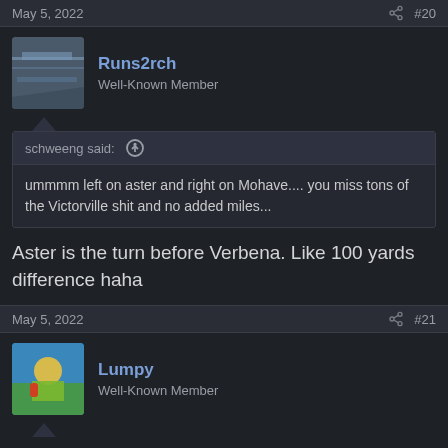May 5, 2022  #20
Runs2rch
Well-Known Member
schweeng said: ↑
ummmm left on aster and right on Mohave.... you miss tons of the Victorville shit and no added miles...
Aster is the turn before Verbena. Like 100 yards difference haha
May 5, 2022  #21
Lumpy
Well-Known Member
Thanks for the replies gents!